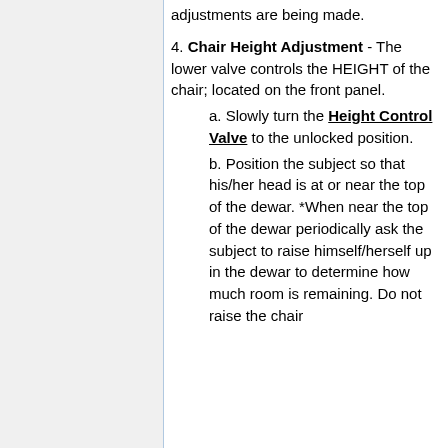adjustments are being made.
4. Chair Height Adjustment - The lower valve controls the HEIGHT of the chair; located on the front panel.
a. Slowly turn the Height Control Valve to the unlocked position.
b. Position the subject so that his/her head is at or near the top of the dewar. *When near the top of the dewar periodically ask the subject to raise himself/herself up in the dewar to determine how much room is remaining. Do not raise the chair